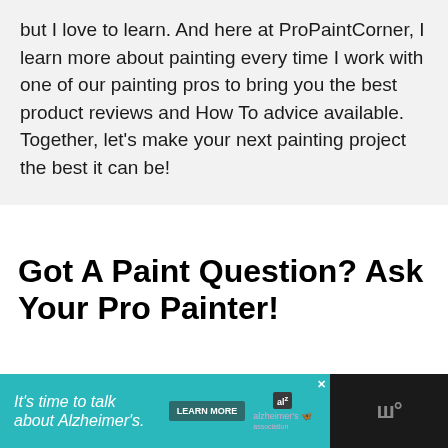but I love to learn. And here at ProPaintCorner, I learn more about painting every time I work with one of our painting pros to bring you the best product reviews and How To advice available. Together, let's make your next painting project the best it can be!
Got A Paint Question? Ask Your Pro Painter!
[Figure (other): Advertisement banner: teal background with italic text 'It's time to talk about Alzheimer's.' and a 'LEARN MORE' button, Alzheimer's Association logo, on dark background with logo mark on right side]